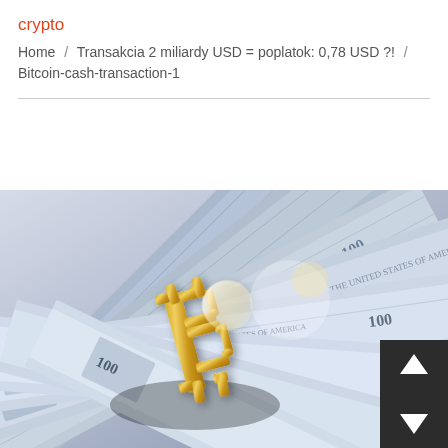crypto
Home / Transakcia 2 miliardy USD = poplatok: 0,78 USD ?! / Bitcoin-cash-transaction-1
[Figure (photo): A gold Bitcoin coin symbol resting on top of fanned-out US dollar bills, with navigation scroll buttons (up and down arrows) overlaid in the bottom-right corner.]